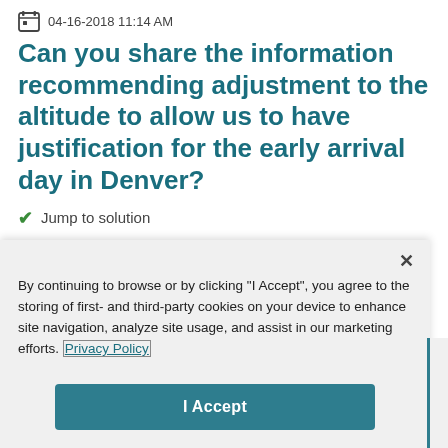04-16-2018 11:14 AM
Can you share the information recommending adjustment to the altitude to allow us to have justification for the early arrival day in Denver?
✔ Jump to solution
By continuing to browse or by clicking "I Accept", you agree to the storing of first- and third-party cookies on your device to enhance site navigation, analyze site usage, and assist in our marketing efforts. Privacy Policy
I Accept